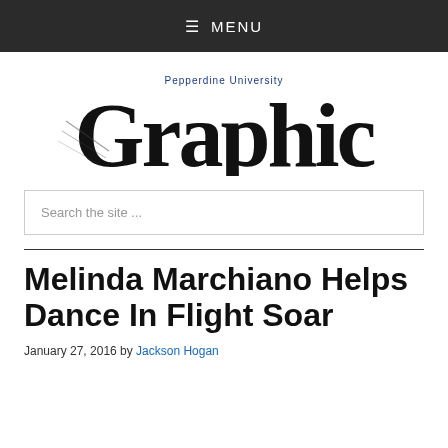≡ MENU
[Figure (logo): Pepperdine University Graphic newspaper logo in blackletter/Gothic style]
Search the site ...
Melinda Marchiano Helps Dance In Flight Soar
January 27, 2016 by Jackson Hogan